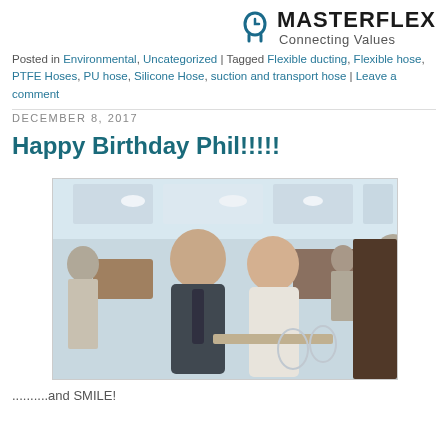[Figure (logo): Masterflex logo with arch icon and tagline 'Connecting Values']
Posted in Environmental, Uncategorized | Tagged Flexible ducting, Flexible hose, PTFE Hoses, PU hose, Silicone Hose, suction and transport hose | Leave a comment
DECEMBER 8, 2017
Happy Birthday Phil!!!!!
[Figure (photo): Two men posing together smiling in a restaurant or venue setting]
..........and SMILE!